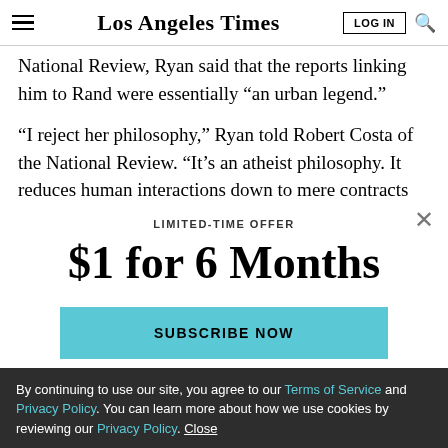Los Angeles Times
National Review, Ryan said that the reports linking him to Rand were essentially “an urban legend.”
“I reject her philosophy,” Ryan told Robert Costa of the National Review. “It’s an atheist philosophy. It reduces human interactions down to mere contracts and it is
LIMITED-TIME OFFER
$1 for 6 Months
SUBSCRIBE NOW
By continuing to use our site, you agree to our Terms of Service and Privacy Policy. You can learn more about how we use cookies by reviewing our Privacy Policy. Close